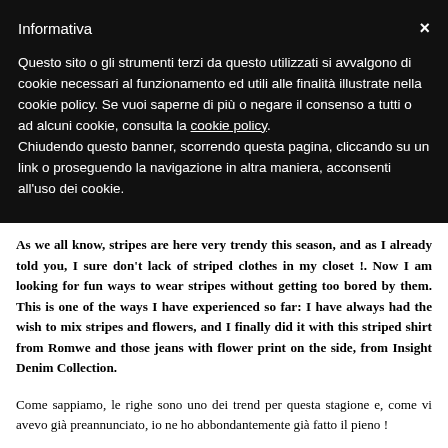Informativa
Questo sito o gli strumenti terzi da questo utilizzati si avvalgono di cookie necessari al funzionamento ed utili alle finalità illustrate nella cookie policy. Se vuoi saperne di più o negare il consenso a tutti o ad alcuni cookie, consulta la cookie policy. Chiudendo questo banner, scorrendo questa pagina, cliccando su un link o proseguendo la navigazione in altra maniera, acconsenti all'uso dei cookie.
As we all know, stripes are here very trendy this season, and as I already told you, I sure don't lack of striped clothes in my closet !. Now I am looking for fun ways to wear stripes without getting too bored by them. This is one of the ways I have experienced so far: I have always had the wish to mix stripes and flowers, and I finally did it with this striped shirt from Romwe and those jeans with flower print on the side, from Insight Denim Collection.
Come sappiamo, le righe sono uno dei trend per questa stagione e, come vi avevo già preannunciato, io ne ho abbondantemente già fatto il pieno !